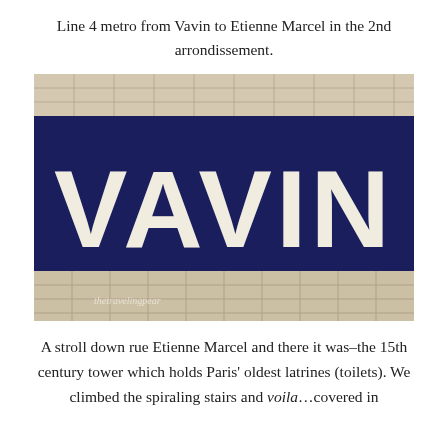Line 4 metro from Vavin to Etienne Marcel in the 2nd arrondissement.
[Figure (photo): Close-up photo of a Paris metro station sign reading 'VAVIN' in large white capital letters on a dark navy blue background, with white tiled wall visible at top and bottom.]
A stroll down rue Etienne Marcel and there it was–the 15th century tower which holds Paris' oldest latrines (toilets). We climbed the spiraling stairs and voila…covered in